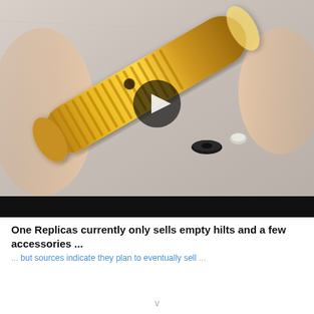[Figure (screenshot): Video thumbnail showing a gold anodized aluminum lightsaber hilt with ridged grip lying diagonally on a white cloth background, with two small parts (a black rubber washer and a white piece) visible nearby. Hands are visible on the left and right edges. A circular play button overlay is centered on the image. Below the thumbnail is a black video player bar.]
One Replicas currently only sells empty hilts and a few accessories ...
... [blue link text continues] ...